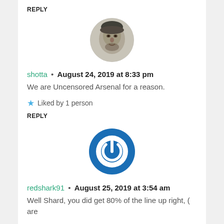REPLY
[Figure (illustration): Circular avatar showing a sketched portrait of a person's face in gray/black tones]
shotta • August 24, 2019 at 8:33 pm
We are Uncensored Arsenal for a reason.
★ Liked by 1 person
REPLY
[Figure (logo): Circular blue power button icon with white power symbol]
redshark91 • August 25, 2019 at 3:54 am
Well Shard, you did get 80% of the line up right, ( are